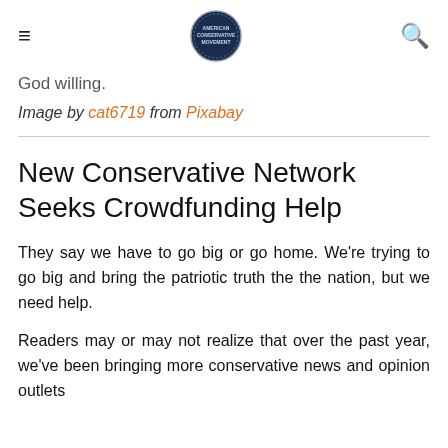≡  [logo]  🔍
God willing.
Image by cat6719 from Pixabay
New Conservative Network Seeks Crowdfunding Help
They say we have to go big or go home. We're trying to go big and bring the patriotic truth the the nation, but we need help.
Readers may or may not realize that over the past year, we've been bringing more conservative news and opinion outlets